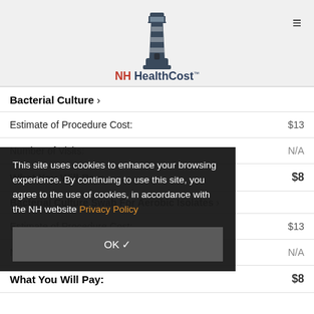NH HealthCost
Bacterial Culture
| Label | Value |
| --- | --- |
| Estimate of Procedure Cost: | $13 |
| Number of Visits: | N/A |
| What You Will Pay: | $8 |
This site uses cookies to enhance your browsing experience. By continuing to use this site, you agree to the use of cookies, in accordance with the NH website Privacy Policy
Bacterial Culture Swab For Aerobic Isolates
| Label | Value |
| --- | --- |
| Estimate of Procedure Cost: | $13 |
| Number of Visits: | N/A |
| What You Will Pay: | $8 |